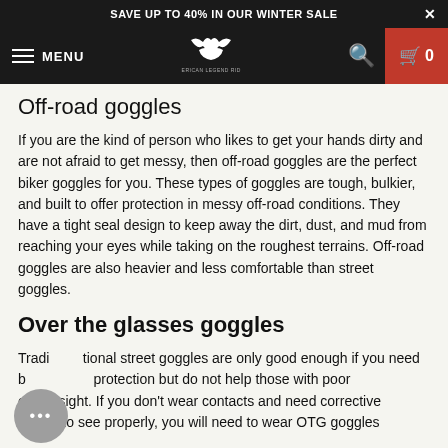SAVE UP TO 40% IN OUR WINTER SALE
[Figure (screenshot): Navigation bar with hamburger menu, MENU text, American Legend Rider eagle logo, search icon, and red cart button with 0 items]
Off-road goggles
If you are the kind of person who likes to get your hands dirty and are not afraid to get messy, then off-road goggles are the perfect biker goggles for you. These types of goggles are tough, bulkier, and built to offer protection in messy off-road conditions. They have a tight seal design to keep away the dirt, dust, and mud from reaching your eyes while taking on the roughest terrains. Off-road goggles are also heavier and less comfortable than street goggles.
Over the glasses goggles
Traditional street goggles are only good enough if you need basic protection but do not help those with poor eyesight. If you don't wear contacts and need corrective lenses to see properly, you will need to wear OTG goggles